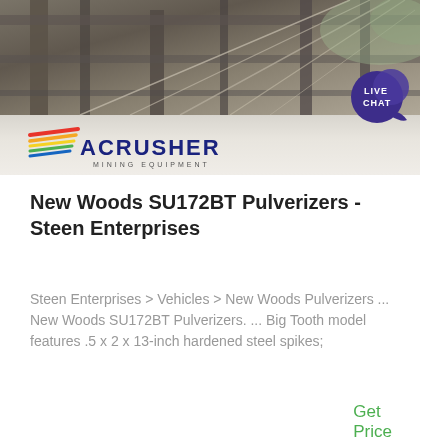[Figure (photo): Industrial mining/construction equipment photo showing metal framework, cables and structural beams, with ACRUSHER Mining Equipment logo overlay at bottom]
New Woods SU172BT Pulverizers - Steen Enterprises
Steen Enterprises > Vehicles > New Woods Pulverizers ... New Woods SU172BT Pulverizers. ... Big Tooth model features .5 x 2 x 13-inch hardened steel spikes;
Get Price